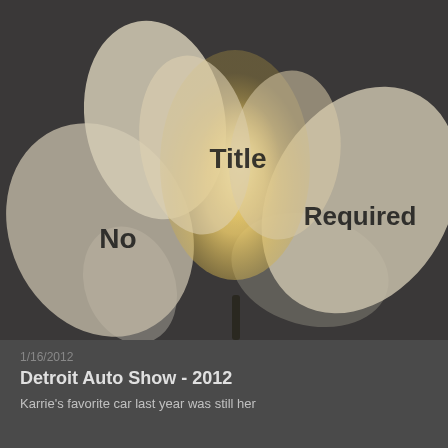[Figure (illustration): A glowing flower (lotus-like) with soft cream/golden petals against a dark gray background. Text overlaid on the petals reads 'No Title Required' — a blog or website logo/header image.]
1/16/2012
Detroit Auto Show - 2012
Karrie's favorite car last year was still her